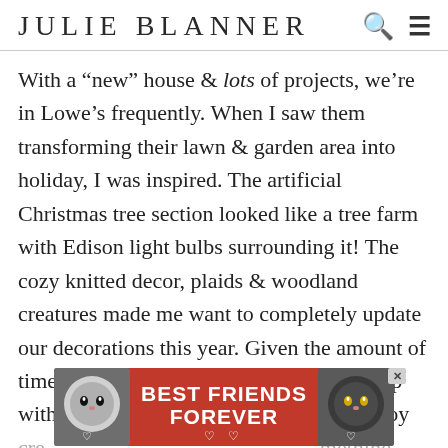JULIE BLANNER
With a “new” house & lots of projects, we’re in Lowe’s frequently. When I saw them transforming their lawn & garden area into holiday, I was inspired. The artificial Christmas tree section looked like a tree farm with Edison light bulbs surrounding it! The cozy knitted decor, plaids & woodland creatures made me want to completely update our decorations this year. Given the amount of time I spend at Lowe’s, I always coming up with ideas that I can’t resist creating. I enjoy creating something that
[Figure (screenshot): Advertisement banner with two cats reading BEST FRIENDS FOREVER with heart symbols, red background, close button.]